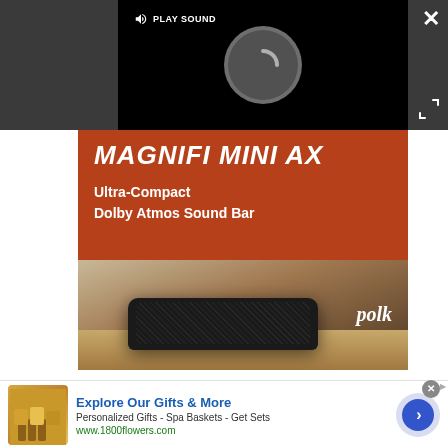[Figure (screenshot): Video player with dark background showing a loading spinner and a 'PLAY SOUND' button with speaker icon. Close (X) button in top-right corner and expand arrows icon below it.]
[Figure (illustration): Polk Audio MAGNIFI MINI AX advertisement. Red-brown banner with bold white italic text 'MAGNIFI MINI AX' and subtitle 'Ultra-Compact Dolby Atmos Sound Bar'. Below is a product photo of a black compact soundbar on a wooden shelf with 'polk' logo in bottom-right.]
[Figure (screenshot): Bottom display advertisement for 1800flowers.com. Shows gift products image on left, text 'Explore Our Gifts & More', 'Personalized Gifts - Spa Baskets - Get Sets', 'www.1800flowers.com', and a blue circular arrow button on the right.]